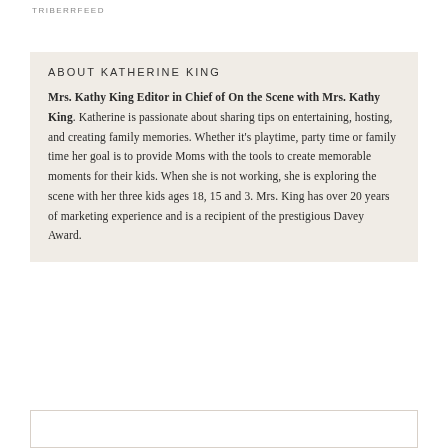TRIBERRFEED
ABOUT KATHERINE KING
Mrs. Kathy King Editor in Chief of On the Scene with Mrs. Kathy King. Katherine is passionate about sharing tips on entertaining, hosting, and creating family memories. Whether it's playtime, party time or family time her goal is to provide Moms with the tools to create memorable moments for their kids. When she is not working, she is exploring the scene with her three kids ages 18, 15 and 3. Mrs. King has over 20 years of marketing experience and is a recipient of the prestigious Davey Award.